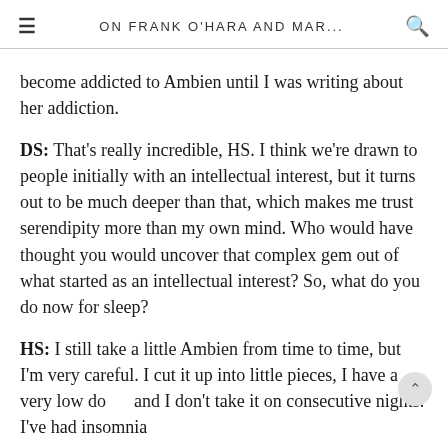ON FRANK O'HARA AND MAR...
become addicted to Ambien until I was writing about her addiction.
DS: That's really incredible, HS. I think we're drawn to people initially with an intellectual interest, but it turns out to be much deeper than that, which makes me trust serendipity more than my own mind. Who would have thought you would uncover that complex gem out of what started as an intellectual interest? So, what do you do now for sleep?
HS: I still take a little Ambien from time to time, but I'm very careful. I cut it up into little pieces, I have a very low do and I don't take it on consecutive nights. I've had insomnia